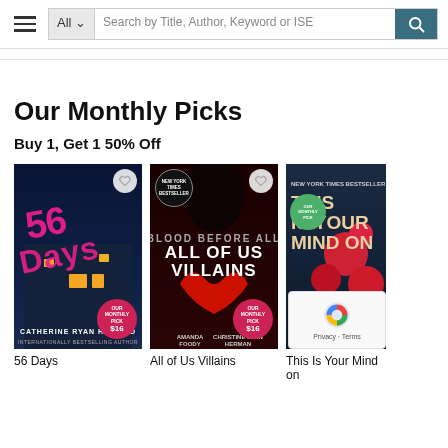Search bar with hamburger menu, All dropdown, Search by Title, Author, Keyword or ISE input, and search button
Our Monthly Picks
Buy 1, Get 1 50% Off
[Figure (photo): Book cover: 56 Days by Catherine Ryan Howard, dark thriller cover with pink handwritten title over a building at night. Has heart button, Our Monthly Pick badge.]
[Figure (photo): Book cover: All of Us Villains by Amanda Foody and Christine Lynn Herman, dark red cover with two hands. New York Times Bestseller badge. Has heart button and Our Monthly Pick badge.]
[Figure (photo): Book cover: This Is Your Mind on Plants by Michael Pollan, dark blue cover with roses. New York Times Bestseller. Has Our Monthly Pick green badge.]
56 Days
All of Us Villains
This Is Your Mind on